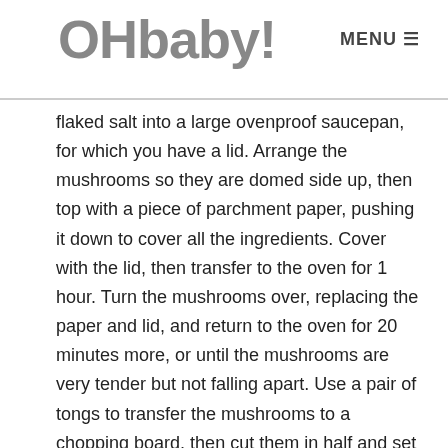OHbaby! MENU
flaked salt into a large ovenproof saucepan, for which you have a lid. Arrange the mushrooms so they are domed side up, then top with a piece of parchment paper, pushing it down to cover all the ingredients. Cover with the lid, then transfer to the oven for 1 hour. Turn the mushrooms over, replacing the paper and lid, and return to the oven for 20 minutes more, or until the mushrooms are very tender but not falling apart. Use a pair of tongs to transfer the mushrooms to a chopping board, then cut them in half and set aside.
3. Use a spoon to remove the onion, garlic and chilli (discarding the stem) – don't worry if you scoop up some of the spices and oil. Put them into the small bowl of a food processor and blitz until smooth. Return the blitzed onion mixture to the saucepan, along with the mushroom halves, and place on a medium-high heat. Cook for about 5 minutes